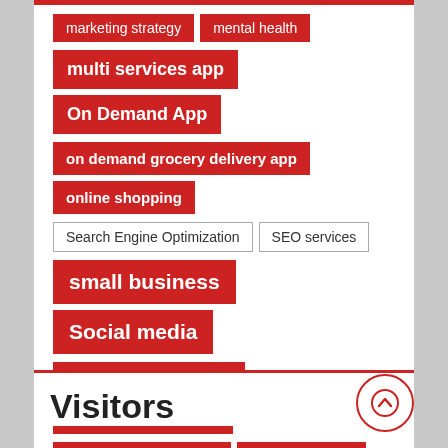marketing strategy
mental health
multi services app
On Demand App
on demand grocery delivery app
online shopping
Search Engine Optimization
SEO services
small business
Social media
social media marketing
social media platform
social media platforms
target audience
Taxi Booking App
uber app clone
uber clone
uber clone app
uber clone script
Visitors